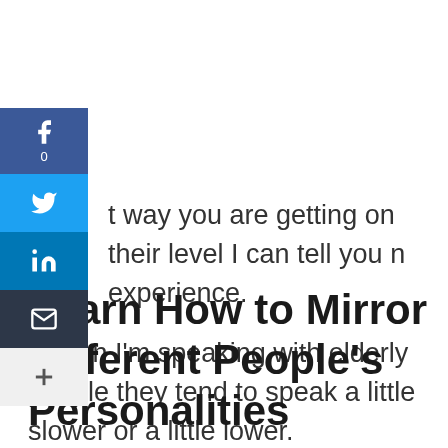t way you are getting on their level I can tell you n experience.
t when I'm speaking with elderly people they tend to speak a little slower or a little lower.
Learn How to Mirror Different People's Personalities